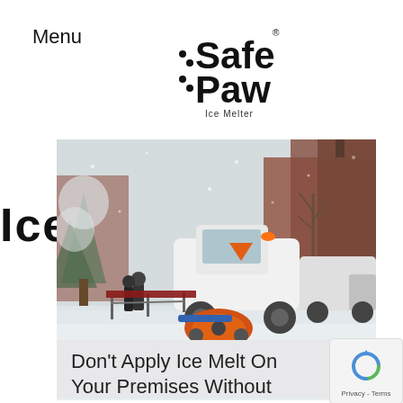Menu
[Figure (logo): Safe Paw Ice Melter logo — stylized text with dots forming paw print motif, subtitle 'Ice Melter']
Ice Melt
[Figure (photo): A snow plow / street sweeper vehicle with orange rotating brush clearing a snow-covered road in a winter urban setting with trees and buildings in background]
Don't Apply Ice Melt On Your Premises Without